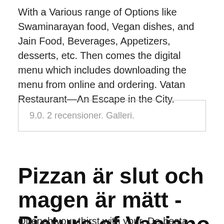With a Various range of Options like Swaminarayan food, Vegan dishes, and Jain Food, Beverages, Appetizers, desserts, etc. Then comes the digital menu which includes downloading the menu from online and ordering. Vatan Restaurant—An Escape in the City.
9.0. 2 recensioner. Galleri.
Pizzan är slut och magen är mätt - Picture of Vapiano Gamla
Quench your thirst with your. De besta restauranta